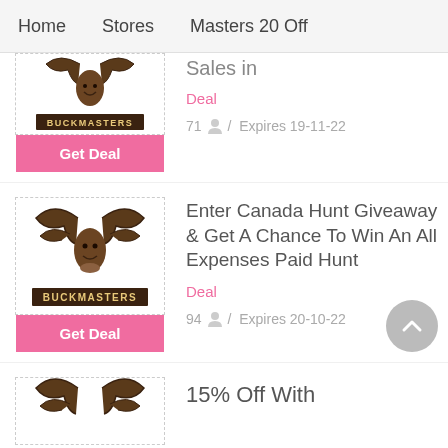Home   Stores   Masters 20 Off
Sales in
Deal
71  /  Expires 19-11-22
[Figure (logo): Buckmasters logo on white background with dashed border, and pink Get Deal button below]
Enter Canada Hunt Giveaway & Get A Chance To Win An All Expenses Paid Hunt
Deal
94  /  Expires 20-10-22
[Figure (logo): Buckmasters logo on white background with dashed border, and pink Get Deal button below]
15% Off With